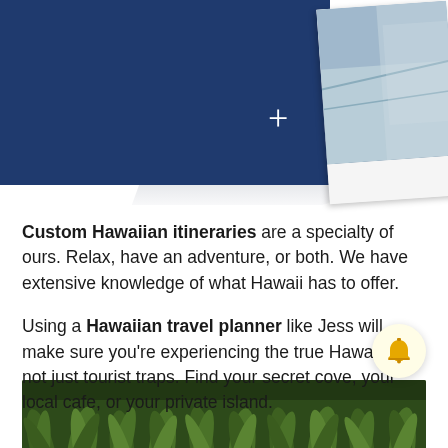[Figure (illustration): Dark navy blue banner with a white plus sign, and a polaroid-style card showing a beach/ocean photo at upper right, with a shadow of card below]
Custom Hawaiian itineraries are a specialty of ours. Relax, have an adventure, or both. We have extensive knowledge of what Hawaii has to offer.
Using a Hawaiian travel planner like Jess will make sure you're experiencing the true Hawaii, and not just tourist traps. Find your secret cove, your local cafe, or your private island.
[Figure (illustration): Bell/concierge icon in a circular yellow-tinted button]
[Figure (photo): Pineapple plant tops/tropical foliage photo at bottom of page]